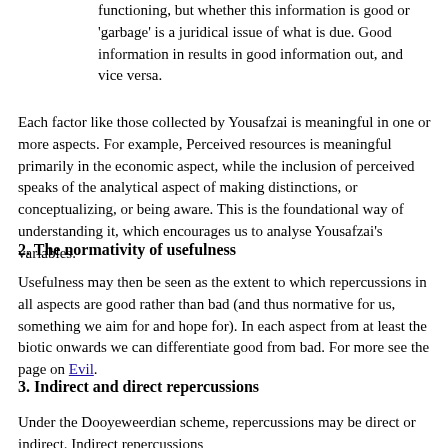functioning, but whether this information is good or 'garbage' is a juridical issue of what is due. Good information in results in good information out, and vice versa.
Each factor like those collected by Yousafzai is meaningful in one or more aspects. For example, Perceived resources is meaningful primarily in the economic aspect, while the inclusion of perceived speaks of the analytical aspect of making distinctions, or conceptualizing, or being aware. This is the foundational way of understanding it, which encourages us to analyse Yousafzai's variables.
2. The normativity of usefulness
Usefulness may then be seen as the extent to which repercussions in all aspects are good rather than bad (and thus normative for us, something we aim for and hope for). In each aspect from at least the biotic onwards we can differentiate good from bad. For more see the page on Evil.
3. Indirect and direct repercussions
Under the Dooyeweerdian scheme, repercussions may be direct or indirect. Indirect repercussions...